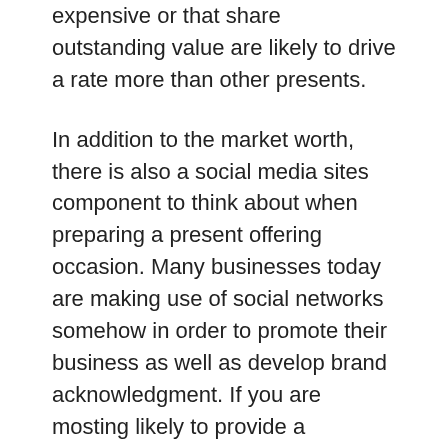expensive or that share outstanding value are likely to drive a rate more than other presents.
In addition to the market worth, there is also a social media sites component to think about when preparing a present offering occasion. Many businesses today are making use of social networks somehow in order to promote their business as well as develop brand acknowledgment. If you are mosting likely to provide a company gift, after that you might intend to take into consideration utilizing social networks as one of your marketing devices. For example, if you are providing corporate presents to workers, you can post images on Twitter or facebook regarding the presents. You can also send routine firm updates with social media sites. When a person sees that you are proactively involved in their organization, they have a tendency to really feel more loyal and are more likely to stick with